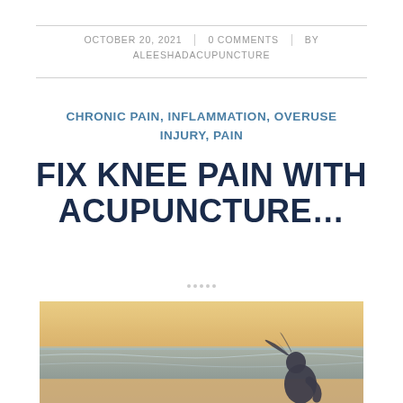OCTOBER 20, 2021 | 0 COMMENTS | BY ALEESHADACUPUNCTURE
CHRONIC PAIN, INFLAMMATION, OVERUSE INJURY, PAIN
FIX KNEE PAIN WITH ACUPUNCTURE…
[Figure (photo): A silhouette of a person with wind-blown hair standing near an ocean beach at sunset/golden hour, viewed from behind]